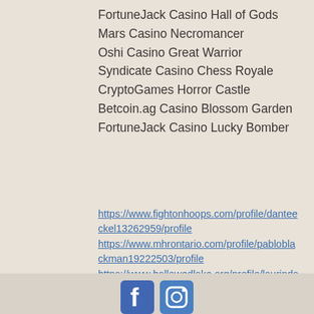FortuneJack Casino Hall of Gods
Mars Casino Necromancer
Oshi Casino Great Warrior
Syndicate Casino Chess Royale
CryptoGames Horror Castle
Betcoin.ag Casino Blossom Garden
FortuneJack Casino Lucky Bomber
https://www.fightonhoops.com/profile/danteeckel13262959/profile
https://www.mhrontario.com/profile/pabloblackman19222503/profile
https://www.hallowedlake.org/profile/laurindaolin4978696/profile
https://www.datadaymke.org/profile/johnietomsick7437154/profile
[Figure (logo): Facebook and Instagram social media icons at the bottom of the page]